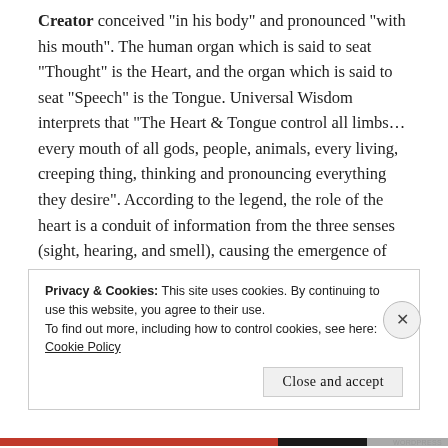Creator conceived "in his body" and pronounced "with his mouth". The human organ which is said to seat "Thought" is the Heart, and the organ which is said to seat "Speech" is the Tongue. Universal Wisdom interprets that "The Heart & Tongue control all limbs... every mouth of all gods, people, animals, every living, creeping thing, thinking and pronouncing everything they desire". According to the legend, the role of the heart is a conduit of information from the three senses (sight, hearing, and smell), causing the emergence of every conclusion (Traunecker, 2001, P. 78 – 79). Therefore it is by means of the Tongue that the thoughts of the Heart are passed on, thus Conception occurs, and that is this process of when
Privacy & Cookies: This site uses cookies. By continuing to use this website, you agree to their use.
To find out more, including how to control cookies, see here: Cookie Policy